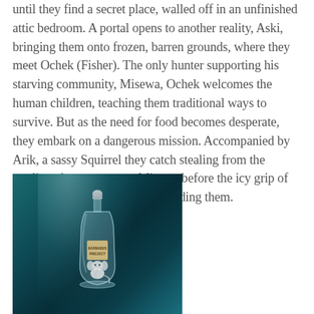until they find a secret place, walled off in an unfinished attic bedroom. A portal opens to another reality, Aski, bringing them onto frozen, barren grounds, where they meet Ochek (Fisher). The only hunter supporting his starving community, Misewa, Ochek welcomes the human children, teaching them traditional ways to survive. But as the need for food becomes desperate, they embark on a dangerous mission. Accompanied by Arik, a sassy Squirrel they catch stealing from the trapline, they try to save Misewa before the icy grip of winter freezes everything – including them.
[Figure (illustration): Book cover of 'The Barnabus Project' showing a glass jar/bottle with a small creature inside, on a teal/dark aqua background with light beam effect. A label on the bottle reads 'BARNABUS PROJECT'.]